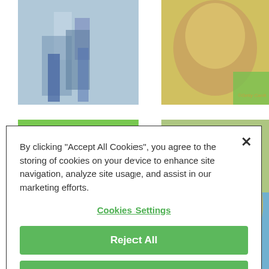[Figure (photo): Four sports/action photos in a 2x2 grid — top-left: athletes cycling/running in blue kits; top-right: close-up of a person's face with green and yellow color; bottom-left: close-up of an athlete with colorful sunglasses and helmet; bottom-right: athlete in yellow kit wiping face.]
By clicking "Accept All Cookies", you agree to the storing of cookies on your device to enhance site navigation, analyze site usage, and assist in our marketing efforts.
Cookies Settings
Reject All
Accept All Cookies